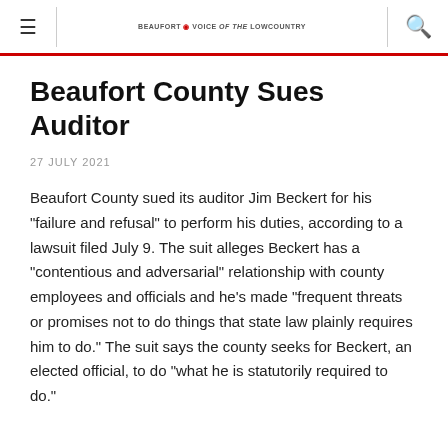≡  BEAUFORT VOICE of the LOWCOUNTRY  🔍
Beaufort County Sues Auditor
27 JULY 2021
Beaufort County sued its auditor Jim Beckert for his "failure and refusal" to perform his duties, according to a lawsuit filed July 9. The suit alleges Beckert has a "contentious and adversarial" relationship with county employees and officials and he's made "frequent threats or promises not to do things that state law plainly requires him to do." The suit says the county seeks for Beckert, an elected official, to do "what he is statutorily required to do."